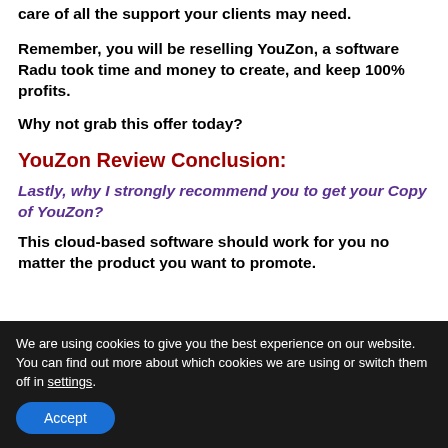And the best thing with this offer is that YouZon still takes care of all the support your clients may need.
Remember, you will be reselling YouZon, a software Radu took time and money to create, and keep 100% profits.
Why not grab this offer today?
YouZon Review Conclusion:
Lastly, why I strongly recommend you to get your Copy of YouZon?
This cloud-based software should work for you no matter the product you want to promote.
We are using cookies to give you the best experience on our website.
You can find out more about which cookies we are using or switch them off in settings.
Accept